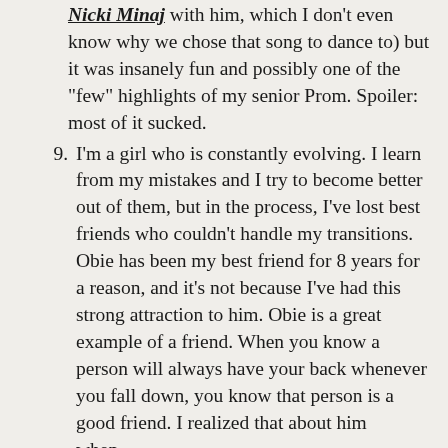(continuation) Nicki Minaj with him, which I don't even know why we chose that song to dance to) but it was insanely fun and possibly one of the "few" highlights of my senior Prom. Spoiler: most of it sucked.
9. I'm a girl who is constantly evolving. I learn from my mistakes and I try to become better out of them, but in the process, I've lost best friends who couldn't handle my transitions. Obie has been my best friend for 8 years for a reason, and it's not because I've had this strong attraction to him. Obie is a great example of a friend. When you know a person will always have your back whenever you fall down, you know that person is a good friend. I realized that about him when...
10. ... I fell into a major depression 5 years ago. As mentioned in my All About 2012 post, I was not in the right mind space. I've lost friends due to rumors and gossip, and despite it all, Obie never really left my side.